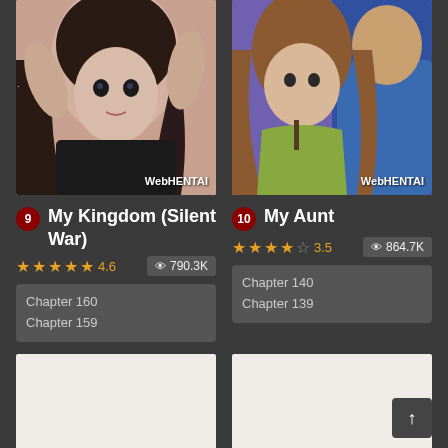[Figure (illustration): Anime-style illustration of a young woman with dark hair lying down, wearing a black top]
WebHENTAI
[Figure (illustration): Anime-style illustration of two characters, a woman with brown hair in a green outfit and a man in a blue shirt]
WebHENTAI
9  My Kingdom (Silent War)
10  My Aunt
★★★★½ 4.6   👁 790.3K
★★★★☆ 3.5   👁 864.7K
Chapter 160
Chapter 159
Chapter 140
Chapter 139
[Figure (illustration): Partially visible manga/illustration, mostly white/blank at bottom left]
[Figure (illustration): Partially visible manga/illustration, mostly white/blank at bottom right]